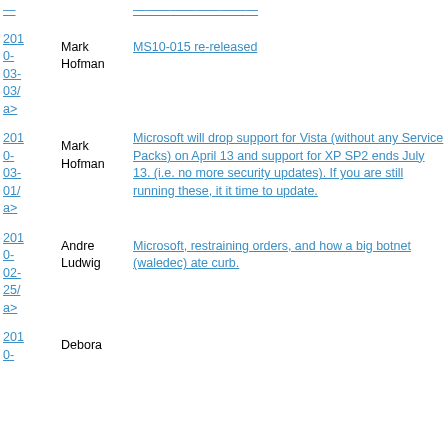2010-03-03/ a> | Mark Hofman | MS10-015 re-released
2010-03-01/ a> | Mark Hofman | Microsoft will drop support for Vista (without any Service Packs) on April 13 and support for XP SP2 ends July 13. (i.e. no more security updates). If you are still running these, it it time to update.
2010-02-25/ a> | Andre Ludwig | Microsoft, restraining orders, and how a big botnet (waledec) ate curb.
2010-0- | Debora